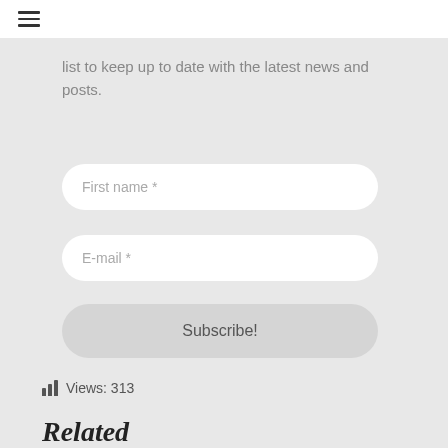list to keep up to date with the latest news and posts.
First name *
E-mail *
Subscribe!
Views: 313
Related